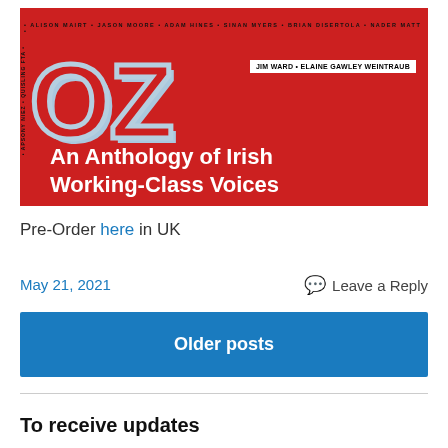[Figure (illustration): Book cover on red background showing large stylized letters 'OZ' with text 'An Anthology of Irish Working-Class Voices' and author names around the border including JIM WARD, ELAINE GAWLEY WEINTRAUB and others.]
Pre-Order here in UK
May 21, 2021
Leave a Reply
Older posts
To receive updates